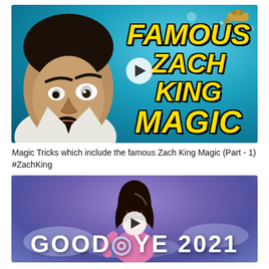[Figure (screenshot): YouTube video thumbnail showing a man with surprised expression against a blue water background, with large bold yellow text reading 'FAMOUS ZACH KING MAGIC' and a play button overlay]
Magic Tricks which include the famous Zach King Magic (Part - 1) #ZachKing
[Figure (screenshot): YouTube video thumbnail showing a woman in pink top against a purple/blue sky background with text 'GOODBYE 2021' and a play button overlay]